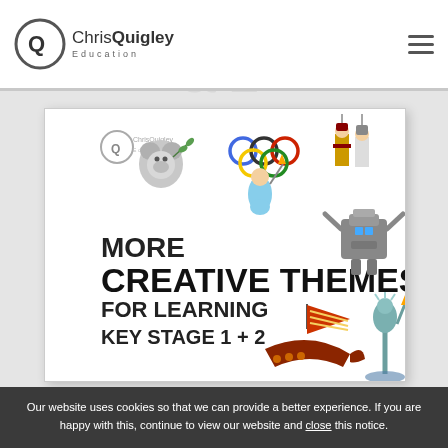Chris Quigley Education
Key Stages 1 & 2
[Figure (illustration): Book cover for 'More Creative Themes for Learning Key Stage 1 + 2' by Chris Quigley Education, featuring cartoon characters including a koala, Olympic athlete with torch and rings, Roman soldiers, a robot, a Viking ship, and a Statue of Liberty. Includes Chris Quigley Education logo.]
Our website uses cookies so that we can provide a better experience. If you are happy with this, continue to view our website and close this notice.